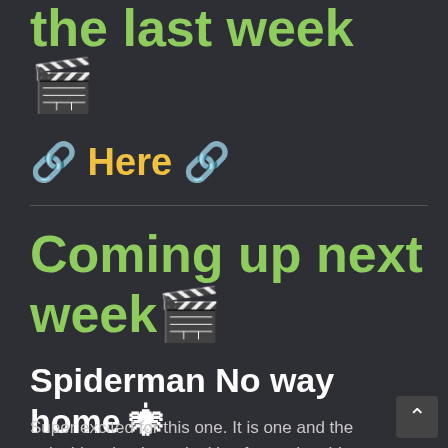the last week 🎬
🔗 Here 🔗
Coming up next week🎬
Spiderman No way home 🕷
Super excited for this one. It is one and the only thing that I was looking forward to this year and it's finally